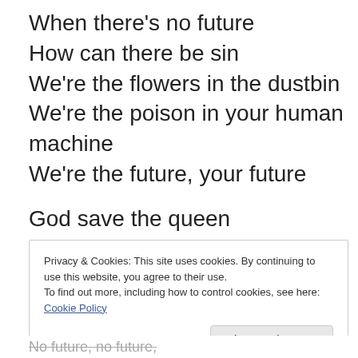When there's no future
How can there be sin
We're the flowers in the dustbin
We're the poison in your human machine
We're the future, your future
God save the queen
We mean it man
We love our queen
God saves
Privacy & Cookies: This site uses cookies. By continuing to use this website, you agree to their use.
To find out more, including how to control cookies, see here: Cookie Policy
No future, no future,